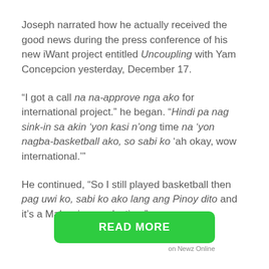Joseph narrated how he actually received the good news during the press conference of his new iWant project entitled Uncoupling with Yam Concepcion yesterday, December 17.
“I got a call na na-approve nga ako for international project.” he began. “Hindi pa nag sink-in sa akin ‘yon kasi n’ong time na ‘yon nagba-basketball ako, so sabi ko ‘ah okay, wow international.’”
He continued, “So I still played basketball then pag uwi ko, sabi ko ako lang ang Pinoy dito and it’s a Malaysian production.”
READ MORE